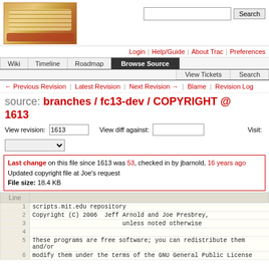[Figure (logo): Trac project logo with bread/sandwich imagery]
Login | Help/Guide | About Trac | Preferences
Wiki | Timeline | Roadmap | Browse Source | View Tickets | Search
← Previous Revision | Latest Revision | Next Revision → | Blame | Revision Log
source: branches / fc13-dev / COPYRIGHT @ 1613
View revision: 1613   View diff against:   Visit:
Last change on this file since 1613 was 53, checked in by jbarnold, 16 years ago
Updated copyright file at Joe's request
File size: 18.4 KB
| Line |  |
| --- | --- |
| 1 | scripts.mit.edu repository |
| 2 | Copyright (C) 2006  Jeff Arnold and Joe Presbrey, |
| 3 |                          unless noted otherwise |
| 4 |  |
| 5 | These programs are free software; you can redistribute them and/or |
| 6 | modify them under the terms of the GNU General Public License |